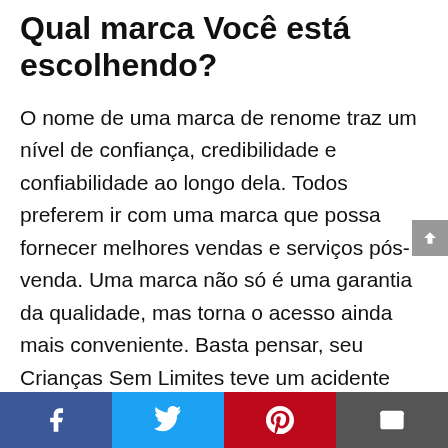Qual marca Você está escolhendo?
O nome de uma marca de renome traz um nível de confiança, credibilidade e confiabilidade ao longo dela. Todos preferem ir com uma marca que possa fornecer melhores vendas e serviços pós-venda. Uma marca não só é uma garantia da qualidade, mas torna o acesso ainda mais conveniente. Basta pensar, seu Crianças Sem Limites teve um acidente logo após um ou dois meses de sua compra ou de repente parou de funcionar devido a alguns problemas internos, qual seria a primeira coisa que você vai fazer? Você vai imediatamente levá-lo para um centro de reparos próximo para
Facebook | Twitter | Pinterest | Email